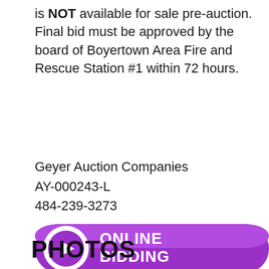is NOT available for sale pre-auction. Final bid must be approved by the board of Boyertown Area Fire and Rescue Station #1 within 72 hours.
Geyer Auction Companies
AY-000243-L
484-239-3273
[Figure (illustration): Purple pill-shaped Online Bidding button with a white play icon circle on the left and bold white text ONLINE BIDDING on the right]
PHOTOS